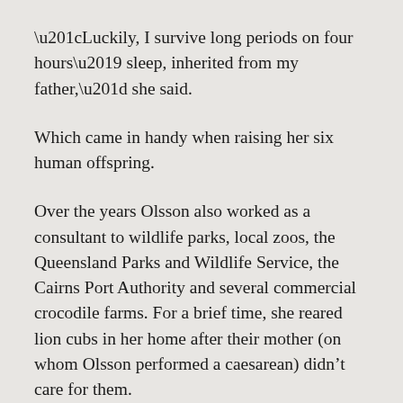“Luckily, I survive long periods on four hours’ sleep, inherited from my father,” she said.
Which came in handy when raising her six human offspring.
Over the years Olsson also worked as a consultant to wildlife parks, local zoos, the Queensland Parks and Wildlife Service, the Cairns Port Authority and several commercial crocodile farms. For a brief time, she reared lion cubs in her home after their mother (on whom Olsson performed a caesarean) didn’t care for them.
She was often called upon to immobilise both freshwater (Crocodylus johnstonii) and estuarine (Crocodylus porosus) crocodiles, for a range of reasons including to facilitate collection of